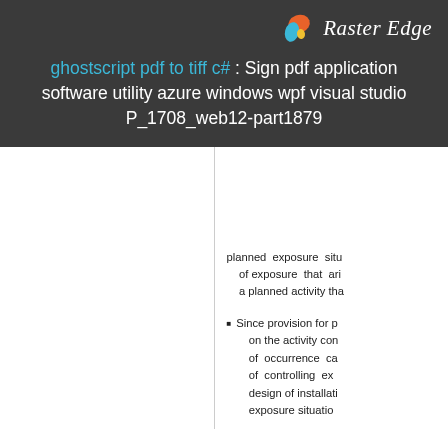Raster Edge
ghostscript pdf to tiff c# : Sign pdf application software utility azure windows wpf visual studio P_1708_web12-part1879
planned exposure situ of exposure that ari a planned activity tha
Since provision for p on the activity con of occurrence ca of controlling e design of installati exposure situatio